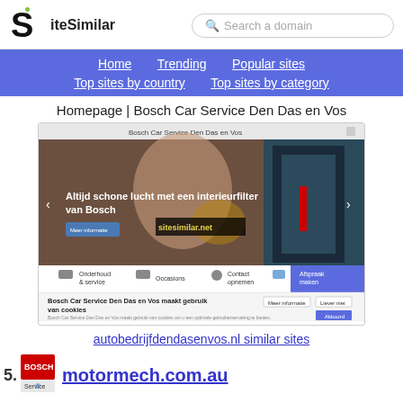[Figure (logo): SiteSimilar logo with stylized S and green dots]
[Figure (screenshot): Screenshot of autobedrijfdendasenvos.nl - Bosch Car Service Den Das en Vos website showing a girl with interior car filter advertisement]
Home  Trending  Popular sites  Top sites by country  Top sites by category
Homepage | Bosch Car Service Den Das en Vos
autobedrijfdendasenvos.nl similar sites
45. motormech.com.au